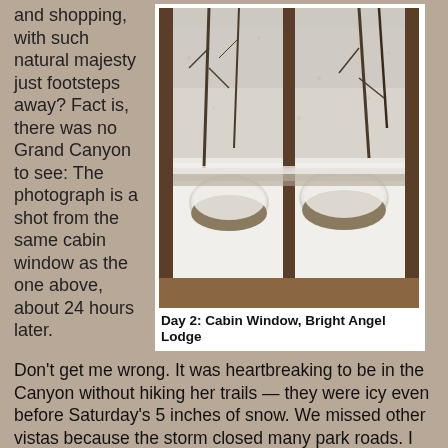and shopping, with such natural majesty just footsteps away? Fact is, there was no Grand Canyon to see: The photograph is a shot from the same cabin window as the one above, about 24 hours later.
[Figure (photo): View from a cabin window showing a snowy winter scene with snow-covered ground and trees, taken from inside a wooden-framed window at Bright Angel Lodge, Grand Canyon.]
Day 2: Cabin Window, Bright Angel Lodge
Don’t get me wrong. It was heartbreaking to be in the Canyon without hiking her trails — they were icy even before Saturday’s 5 inches of snow. We missed other vistas because the storm closed many park roads. I was delighted to be on clear pavement once we exited the park headed back to Vegas on day...